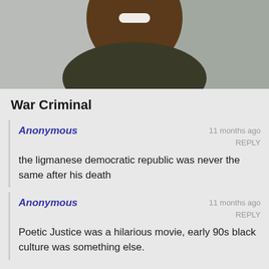[Figure (photo): Photo of a smiling young Black man wearing a dark hoodie, cropped to show face and upper body]
War Criminal
Anonymous
11 months ago
REPLY

the ligmanese democratic republic was never the same after his death
Anonymous
11 months ago
REPLY

Poetic Justice was a hilarious movie, early 90s black culture was something else.